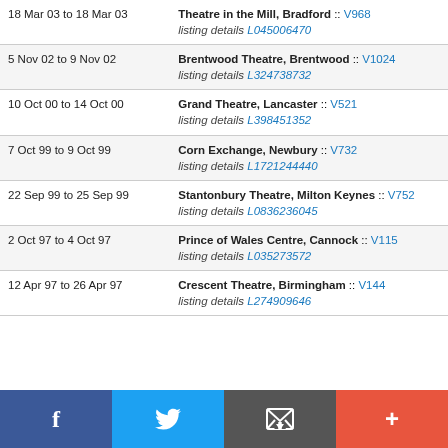| Date | Venue |
| --- | --- |
| 18 Mar 03 to 18 Mar 03 | Theatre in the Mill, Bradford :: V968 listing details L045006470 |
| 5 Nov 02 to 9 Nov 02 | Brentwood Theatre, Brentwood :: V1024 listing details L324738732 |
| 10 Oct 00 to 14 Oct 00 | Grand Theatre, Lancaster :: V521 listing details L398451352 |
| 7 Oct 99 to 9 Oct 99 | Corn Exchange, Newbury :: V732 listing details L1721244440 |
| 22 Sep 99 to 25 Sep 99 | Stantonbury Theatre, Milton Keynes :: V752 listing details L0836236045 |
| 2 Oct 97 to 4 Oct 97 | Prince of Wales Centre, Cannock :: V115 listing details L035273572 |
| 12 Apr 97 to 26 Apr 97 | Crescent Theatre, Birmingham :: V144 listing details L274909646 |
Social share bar: Facebook, Twitter, Email, Plus